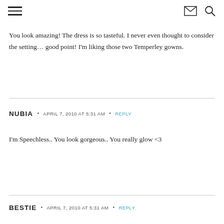[hamburger menu icon] [email icon] [search icon]
You look amazing! The dress is so tasteful. I never even thought to consider the setting… good point! I'm liking those two Temperley gowns.
NUBIA · APRIL 7, 2010 AT 5:31 AM · REPLY
I'm Speechless.. You look gorgeous.. You really glow <3
BESTIE · APRIL 7, 2010 AT 5:31 AM · REPLY